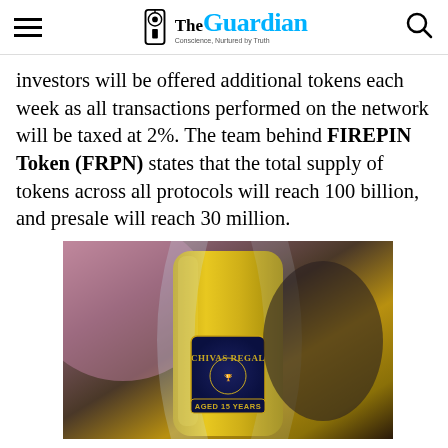The Guardian — Conscience, Nurtured by Truth
investors will be offered additional tokens each week as all transactions performed on the network will be taxed at 2%. The team behind FIREPIN Token (FRPN) states that the total supply of tokens across all protocols will reach 100 billion, and presale will reach 30 million.
[Figure (photo): Close-up photo of a Chivas Regal Aged 15 Years whisky bottle with gold metallic surface and embossed label, partially obscured by a glass or curved transparent surface.]